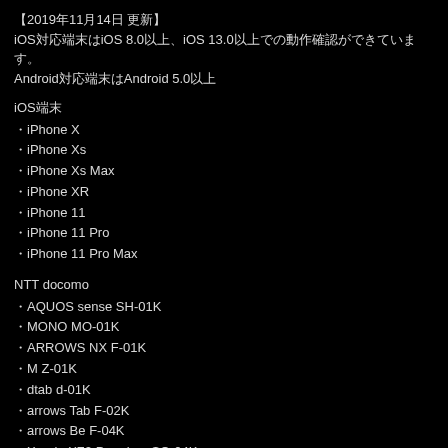【2019年11月14日 更新】
iOS対応端末はiOS 8.0以上、iOS 13.0以上での動作確認ができています。
Android対応端末はAndroid 5.0以上
iOS端末
・iPhone X
・iPhone Xs
・iPhone Xs Max
・iPhone XR
・iPhone 11
・iPhone 11 Pro
・iPhone 11 Pro Max
NTT docomo
・AQUOS sense SH-01K
・MONO MO-01K
・ARROWS NX F-01K
・M Z-01K
・dtab d-01K
・arrows Tab F-02K
・arrows Be F-04K
・Xperia XZ2 Premium SO-04K
・dtab Compact d-02K
・Galaxy Note9 SC-01L